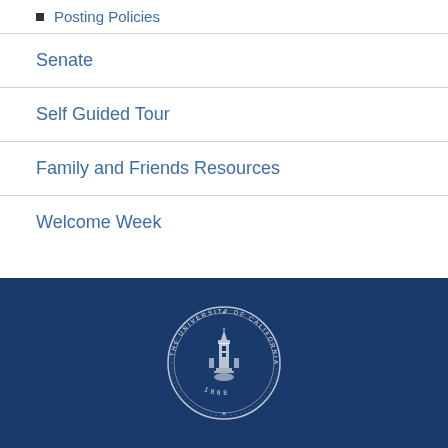Posting Policies
Senate
Self Guided Tour
Family and Friends Resources
Welcome Week
[Figure (logo): University of California seal in white on dark navy blue background]